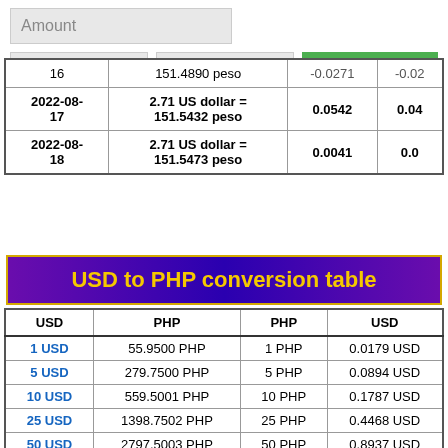[Figure (screenshot): Currency converter UI with Amount input, From/To dropdowns, and Convert button]
| Date | Conversion | Change | Change% |
| --- | --- | --- | --- |
| 16 | 151.4890 peso | -0.0271 | -0.02 |
| 2022-08-17 | 2.71 US dollar = 151.5432 peso | 0.0542 | 0.04 |
| 2022-08-18 | 2.71 US dollar = 151.5473 peso | 0.0041 | 0.0 |
USD to PHP conversion table
| USD | PHP | PHP | USD |
| --- | --- | --- | --- |
| 1 USD | 55.9500 PHP | 1 PHP | 0.0179 USD |
| 5 USD | 279.7500 PHP | 5 PHP | 0.0894 USD |
| 10 USD | 559.5001 PHP | 10 PHP | 0.1787 USD |
| 25 USD | 1398.7502 PHP | 25 PHP | 0.4468 USD |
| 50 USD | 2797.5003 PHP | 50 PHP | 0.8937 USD |
| 100 USD | 5595.0006 PHP | 100 PHP | 1.7873 USD |